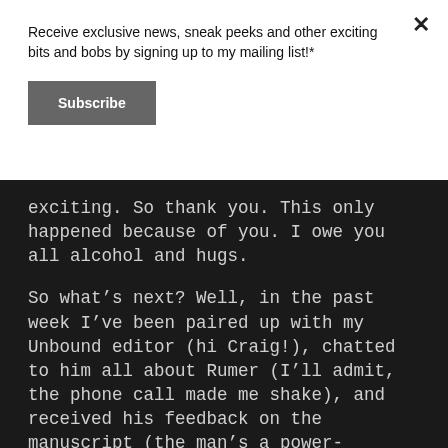Receive exclusive news, sneak peeks and other exciting bits and bobs by signing up to my mailing list!*
Subscribe
exciting. So thank you. This only happened because of you. I owe you all alcohol and hugs.
So what's next? Well, in the past week I've been paired up with my Unbound editor (hi Craig!), chatted to him all about Rumer (I'll admit, the phone call made me shake), and received his feedback on the manuscript (the man's a power-reader).
As I write this, I've just made a start on his edits.